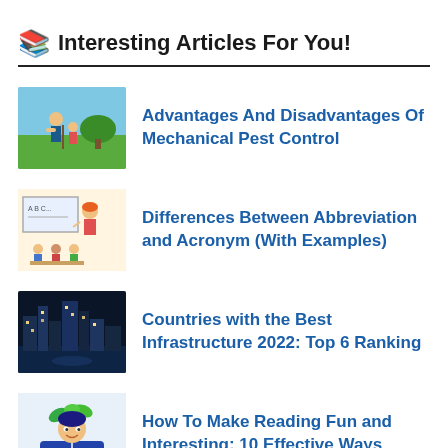📚 Interesting Articles For You!
Advantages And Disadvantages Of Mechanical Pest Control
Differences Between Abbreviation and Acronym (With Examples)
Countries with the Best Infrastructure 2022: Top 6 Ranking
How To Make Reading Fun and Interesting: 10 Effective Ways